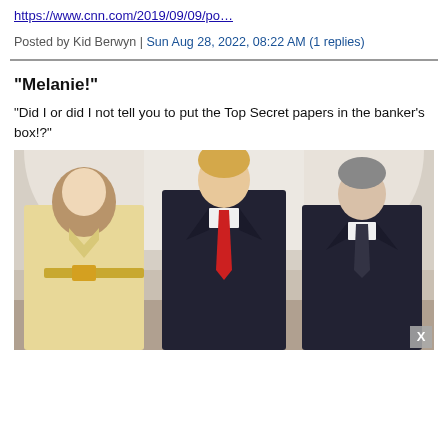https://www.cnn.com/2019/09/09/po…
Posted by Kid Berwyn | Sun Aug 28, 2022, 08:22 AM (1 replies)
"Melanie!"
“Did I or did I not tell you to put the Top Secret papers in the banker’s box!?”
[Figure (photo): Photo of three people standing together: a woman in a yellow coat on the left, a tall man in a dark suit with a red tie in the center, and another man in a dark suit on the right. Background shows white curtains.]